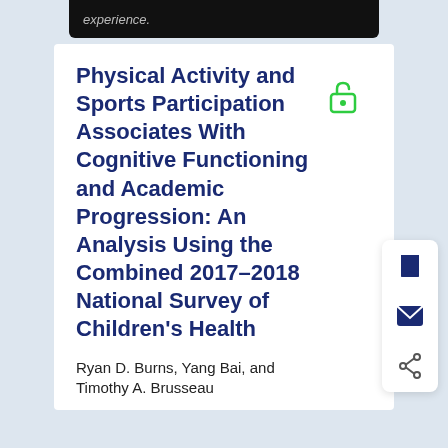experience.
Physical Activity and Sports Participation Associates With Cognitive Functioning and Academic Progression: An Analysis Using the Combined 2017–2018 National Survey of Children's Health
Ryan D. Burns, Yang Bai, and Timothy A. Brusseau